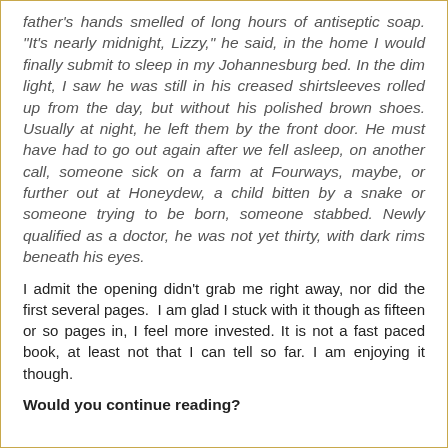father's hands smelled of long hours of antiseptic soap. "It's nearly midnight, Lizzy," he said, in the home I would finally submit to sleep in my Johannesburg bed. In the dim light, I saw he was still in his creased shirtsleeves rolled up from the day, but without his polished brown shoes. Usually at night, he left them by the front door. He must have had to go out again after we fell asleep, on another call, someone sick on a farm at Fourways, maybe, or further out at Honeydew, a child bitten by a snake or someone trying to be born, someone stabbed. Newly qualified as a doctor, he was not yet thirty, with dark rims beneath his eyes.
I admit the opening didn't grab me right away, nor did the first several pages.  I am glad I stuck with it though as fifteen or so pages in, I feel more invested. It is not a fast paced book, at least not that I can tell so far. I am enjoying it though.
Would you continue reading?